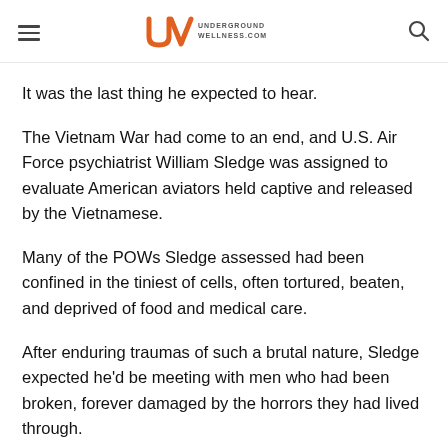Underground Wellness .com
It was the last thing he expected to hear.
The Vietnam War had come to an end, and U.S. Air Force psychiatrist William Sledge was assigned to evaluate American aviators held captive and released by the Vietnamese.
Many of the POWs Sledge assessed had been confined in the tiniest of cells, often tortured, beaten, and deprived of food and medical care.
After enduring traumas of such a brutal nature, Sledge expected he'd be meeting with men who had been broken, forever damaged by the horrors they had lived through.